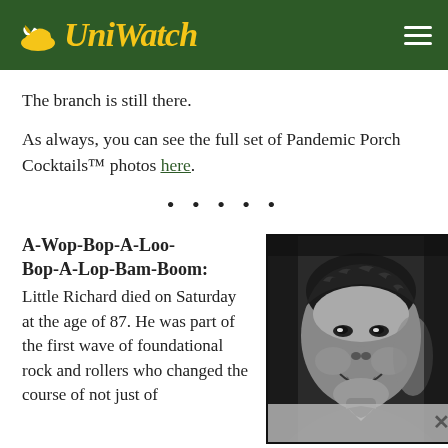Uni Watch
The branch is still there.
As always, you can see the full set of Pandemic Porch Cocktails™ photos here.
• • • • •
A-Wop-Bop-A-Loo-Bop-A-Lop-Bam-Boom:
Little Richard died on Saturday at the age of 87. He was part of the first wave of foundational rock and rollers who changed the course of not just of
[Figure (photo): Black and white portrait photo of Little Richard smiling]